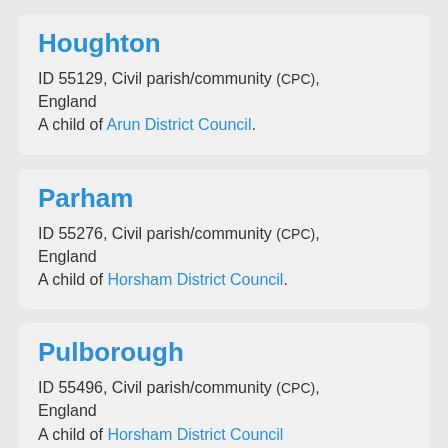Houghton
ID 55129, Civil parish/community (CPC), England
A child of Arun District Council.
Parham
ID 55276, Civil parish/community (CPC), England
A child of Horsham District Council.
Pulborough
ID 55496, Civil parish/community (CPC), England
A child of Horsham District Council.